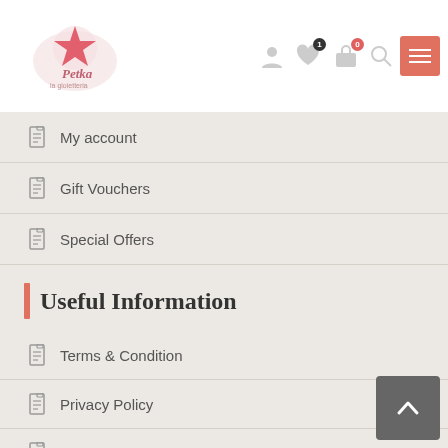Petka - navigation header with logo and icons
My account
Gift Vouchers
Special Offers
Useful Information
Terms & Condition
Privacy Policy
Shipping & Returns
Payment Information